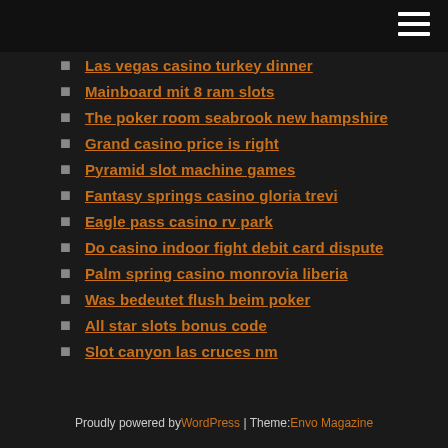[hamburger menu icon]
Las vegas casino turkey dinner
Mainboard mit 8 ram slots
The poker room seabrook new hampshire
Grand casino price is right
Pyramid slot machine games
Fantasy springs casino gloria trevi
Eagle pass casino rv park
Do casino indoor fight debit card dispute
Palm spring casino monrovia liberia
Was bedeutet flush beim poker
All star slots bonus code
Slot canyon las cruces nm
Proudly powered by WordPress | Theme: Envo Magazine